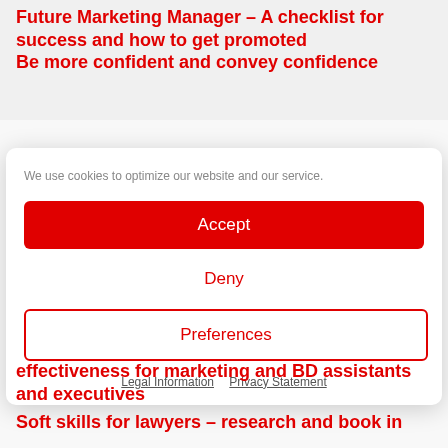Future Marketing Manager – A checklist for success and how to get promoted
Be more confident and convey confidence
We use cookies to optimize our website and our service.
Accept
Deny
Preferences
Legal Information   Privacy Statement
effectiveness for marketing and BD assistants and executives
Soft skills for lawyers – research and book in